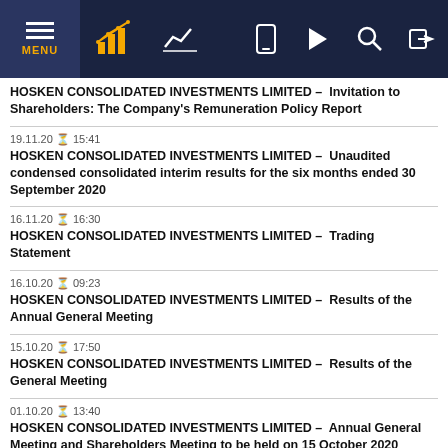Navigation bar with MENU, chart icons, and utility buttons
HOSKEN CONSOLIDATED INVESTMENTS LIMITED – Invitation to Shareholders: The Company's Remuneration Policy Report
19.11.20 15:41
HOSKEN CONSOLIDATED INVESTMENTS LIMITED – Unaudited condensed consolidated interim results for the six months ended 30 September 2020
16.11.20 16:30
HOSKEN CONSOLIDATED INVESTMENTS LIMITED – Trading Statement
16.10.20 09:23
HOSKEN CONSOLIDATED INVESTMENTS LIMITED – Results of the Annual General Meeting
15.10.20 17:50
HOSKEN CONSOLIDATED INVESTMENTS LIMITED – Results of the General Meeting
01.10.20 13:40
HOSKEN CONSOLIDATED INVESTMENTS LIMITED – Annual General Meeting and Shareholders Meeting to be held on 15 October 2020